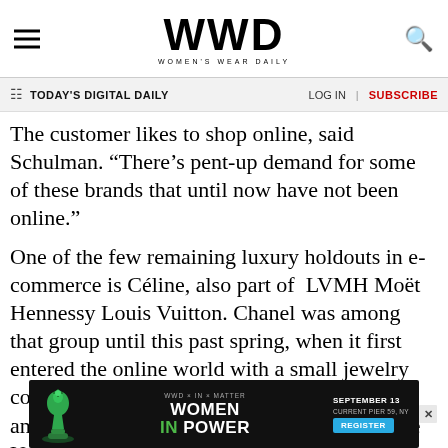WWD WOMEN'S WEAR DAILY
TODAY'S DIGITAL DAILY  LOG IN  SUBSCRIBE
The customer likes to shop online, said Schulman. “There’s pent-up demand for some of these brands that until now have not been online.”
One of the few remaining luxury holdouts in e-commerce is Céline, also part of LVMH Moët Hennessy Louis Vuitton. Chanel was among that group until this past spring, when it first entered the online world with a small jewelry collection done in tandem with Net-A-Porter and dubbed Coco Crush. More recently in the U.S., Chanel added online sales of its sunglasses to its existing
[Figure (infographic): Advertisement banner for WWD x IN x MATTER Women In Power event, September 13, Current Pier 59, NY. Features a green chess queen piece, event title in white and green text, date, venue, and a blue Register button.]